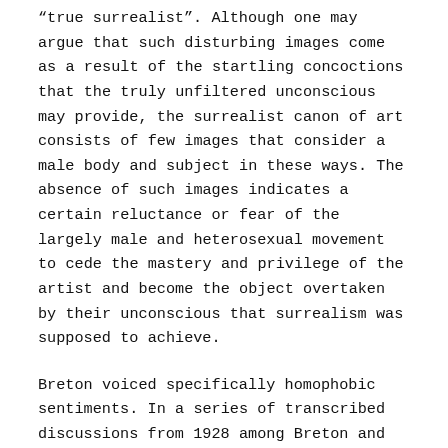“true surrealist”. Although one may argue that such disturbing images come as a result of the startling concoctions that the truly unfiltered unconscious may provide, the surrealist canon of art consists of few images that consider a male body and subject in these ways. The absence of such images indicates a certain reluctance or fear of the largely male and heterosexual movement to cede the mastery and privilege of the artist and become the object overtaken by their unconscious that surrealism was supposed to achieve.
Breton voiced specifically homophobic sentiments. In a series of transcribed discussions from 1928 among Breton and other surrealists on the subject of sex published in their journal La Revolution Surrealist, he accuses “homosexuals of confronting human tolerance with a mental and moral deficiency which tends to turn itself into a system and paralyze every